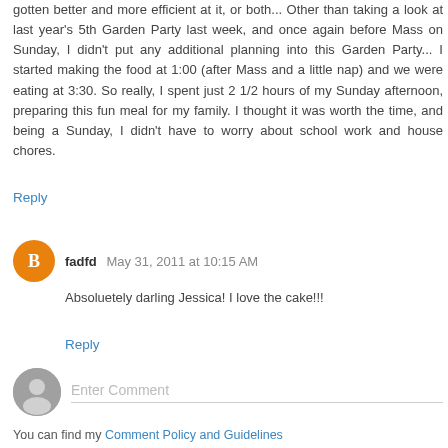gotten better and more efficient at it, or both... Other than taking a look at last year's 5th Garden Party last week, and once again before Mass on Sunday, I didn't put any additional planning into this Garden Party... I started making the food at 1:00 (after Mass and a little nap) and we were eating at 3:30. So really, I spent just 2 1/2 hours of my Sunday afternoon, preparing this fun meal for my family. I thought it was worth the time, and being a Sunday, I didn't have to worry about school work and house chores.
Reply
fadfd  May 31, 2011 at 10:15 AM
Absoluetely darling Jessica! I love the cake!!!
Reply
Enter Comment
You can find my Comment Policy and Guidelines